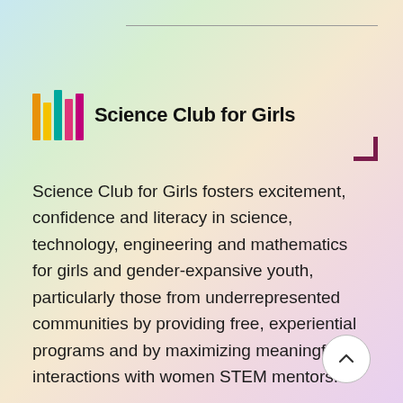[Figure (logo): Science Club for Girls logo: five vertical colored bars (orange, yellow, teal, pink, magenta) beside bold text 'Science Club for Girls']
Science Club for Girls fosters excitement, confidence and literacy in science, technology, engineering and mathematics for girls and gender-expansive youth, particularly those from underrepresented communities by providing free, experiential programs and by maximizing meaningful interactions with women STEM mentors.